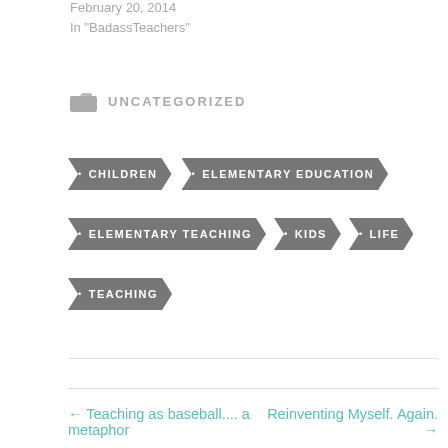February 20, 2014
In "BadassTeachers"
UNCATEGORIZED
CHILDREN
ELEMENTARY EDUCATION
ELEMENTARY TEACHING
KIDS
LIFE
TEACHING
← Teaching as baseball.... a metaphor
Reinventing Myself. Again. →